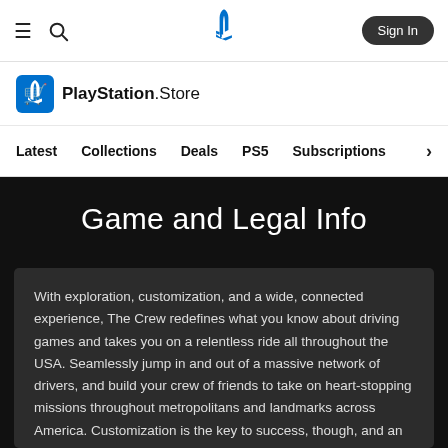≡  🔍  [PlayStation Logo]  Sign In
[Figure (logo): PlayStation Store logo with bag icon and text 'PlayStation.Store']
Latest  Collections  Deals  PS5  Subscriptions  >
Game and Legal Info
With exploration, customization, and a wide, connected experience, The Crew redefines what you know about driving games and takes you on a relentless ride all throughout the USA. Seamlessly jump in and out of a massive network of drivers, and build your crew of friends to take on heart-stopping missions throughout metropolitans and landmarks across America. Customization is the key to success, though, and an extensive tuning system will prepare your ride for any